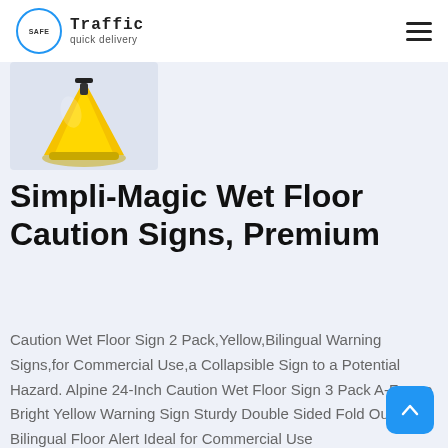Safe Traffic quick delivery
[Figure (photo): Yellow wet floor caution sign, partially visible, on a light blue-grey background]
Simpli-Magic Wet Floor Caution Signs, Premium
Caution Wet Floor Sign 2 Pack,Yellow,Bilingual Warning Signs,for Commercial Use,a Collapsible Sign to a Potential Hazard. Alpine 24-Inch Caution Wet Floor Sign 3 Pack A-Frame Bright Yellow Warning Sign Sturdy Double Sided Fold Out Bilingual Floor Alert Ideal for Commercial Use